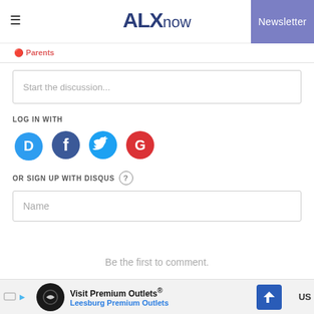ALXnow Newsletter
Parents
Start the discussion...
LOG IN WITH
[Figure (illustration): Social login icons: Disqus (blue speech bubble with D), Facebook (dark blue circle with f), Twitter (light blue circle with bird), Google (red circle with G)]
OR SIGN UP WITH DISQUS ?
Name
Be the first to comment.
[Figure (infographic): Advertisement banner: Visit Premium Outlets® Leesburg Premium Outlets with circular logo and directional sign icon]